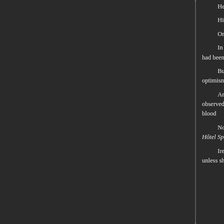He spoke excellent English, with a slight pleasant accent, and, if it will be advanced, it is improbable that he ever expressed a...
His daughter Irene, a vivaciously attractive, rather... and to his own satisfaction, when he had been appoint...
On arriving in that country, she had made it a prin... mother, who was traditionally connected with the Shro...
In this pursuit she had done no more for her fathe... a small village near Haddington. The man was of dubi... father's inclinations had been expressed with as much...
But she had been more successful, at least to he... a good average respectability, and including some of r... speech, a resilient optimism, and an opportunist ability... virtues, though it would be uncharitable to suggest tha...
Among them, William Kindell, cousin of Lord Spa... disposition to accept the generous Embassy hospitalit... withdraw when he had observed, with some inward dis... especially as he could not detect anything in his cond... natural to their ages and dispositions, and to the blood...
Now Irene broke a short silence to ask, in the pse... yet cannot resist the inclination to do so, "Did you noti... grievance (for the Hôtel Splendide was equally open to... whatever he's doing here. I suppose he's not following...
Irene would have liked to feel that the suppositi... knows we're here. It's more likely to be something to d... Professor's daughter, unless she's his wife, a fat Jewis...